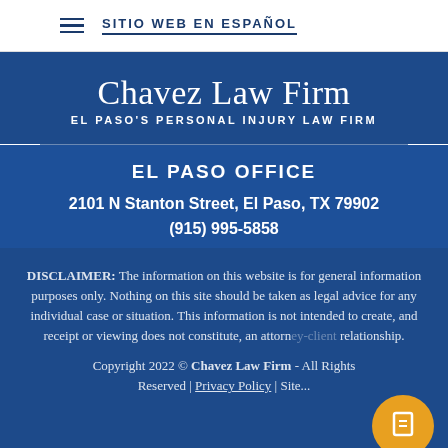SITIO WEB EN ESPAÑOL
Chavez Law Firm - EL PASO'S PERSONAL INJURY LAW FIRM
EL PASO OFFICE
2101 N Stanton Street, El Paso, TX 79902
(915) 995-5858
DISCLAIMER: The information on this website is for general information purposes only. Nothing on this site should be taken as legal advice for any individual case or situation. This information is not intended to create, and receipt or viewing does not constitute, an attorney-client relationship.
Copyright 2022 © Chavez Law Firm - All Rights Reserved | Privacy Policy | Site...